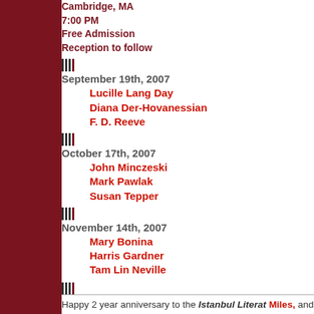Cambridge, MA
7:00 PM
Free Admission
Reception to follow
September 19th, 2007
Lucille Lang Day
Diana Der-Hovanessian
F. D. Reeve
October 17th, 2007
John Minczeski
Mark Pawlak
Susan Tepper
November 14th, 2007
Mary Bonina
Harris Gardner
Tam Lin Neville
Happy 2 year anniversary to the Istanbul Literat... Miles, and Halime. Thank you to all the contributors wonderful team. I thank Etkin so much for trusting M reading all the remarkable work that has been subn